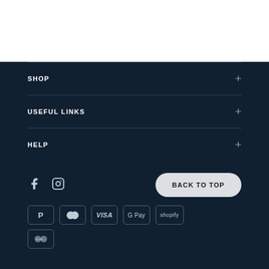SHOP
USEFUL LINKS
HELP
[Figure (other): Footer with social icons (Facebook, Instagram), Back to Top button, and payment method badges (PayPal, Mastercard, VISA, G Pay, Shopify)]
BACK TO TOP